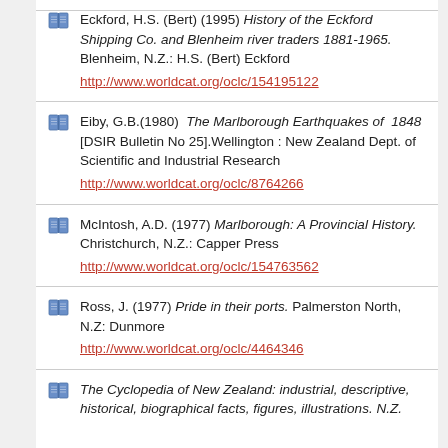Eckford, H.S. (Bert) (1995) History of the Eckford Shipping Co. and Blenheim river traders 1881-1965. Blenheim, N.Z.: H.S. (Bert) Eckford http://www.worldcat.org/oclc/154195122
Eiby, G.B.(1980)  The Marlborough Earthquakes of 1848 [DSIR Bulletin No 25].Wellington : New Zealand Dept. of Scientific and Industrial Research http://www.worldcat.org/oclc/8764266
McIntosh, A.D. (1977) Marlborough: A Provincial History. Christchurch, N.Z.: Capper Press http://www.worldcat.org/oclc/154763562
Ross, J. (1977) Pride in their ports. Palmerston North, N.Z: Dunmore http://www.worldcat.org/oclc/4464346
The Cyclopedia of New Zealand: industrial, descriptive, historical, biographical facts, figures, illustrations. N.Z.